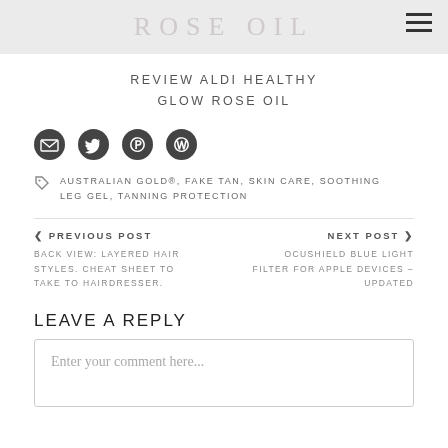ROSE OIL
REVIEW ALDI HEALTHY GLOW ROSE OIL
[Figure (infographic): Social media share icons: email envelope, Twitter bird, Pinterest P, WordPress W — all in black circles]
AUSTRALIAN GOLD®, FAKE TAN, SKIN CARE, SOOTHING LEG GEL, TANNING PROTECTION
< PREVIOUS POST
BACK VIEW: LAYERED HAIR STYLES. CHEAT SHEET TO TAKE TO HAIRDRESSER.
NEXT POST >
OCUSHIELD BLUE LIGHT FILTER FOR APPLE DEVICES – UPDATED
LEAVE A REPLY
Enter your comment here...